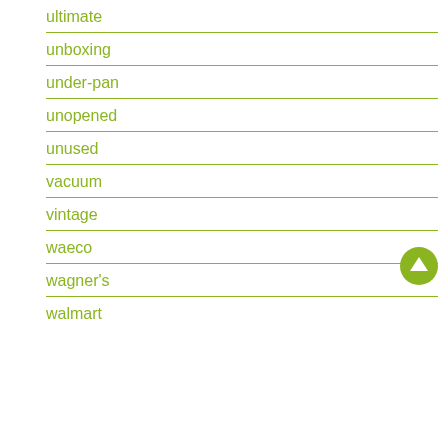ultimate
unboxing
under-pan
unopened
unused
vacuum
vintage
waeco
wagner's
walmart